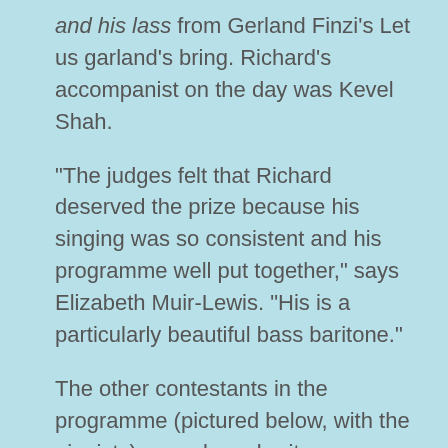and his lass from Gerland Finzi's Let us garland's bring. Richard's accompanist on the day was Kevel Shah.
"The judges felt that Richard deserved the prize because his singing was so consistent and his programme well put together," says Elizabeth Muir-Lewis. "His is a particularly beautiful bass baritone."
The other contestants in the programme (pictured below, with the pianists) were  bass-baritone Michael Mofidian, tenor Wagner Moreira, mezzo-soprano Olivia Warburton, baritone Alex